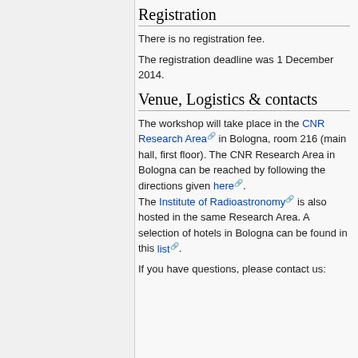Registration
There is no registration fee.
The registration deadline was 1 December 2014.
Venue, Logistics & contacts
The workshop will take place in the CNR Research Area in Bologna, room 216 (main hall, first floor). The CNR Research Area in Bologna can be reached by following the directions given here. The Institute of Radioastronomy is also hosted in the same Research Area. A selection of hotels in Bologna can be found in this list.
If you have questions, please contact us: